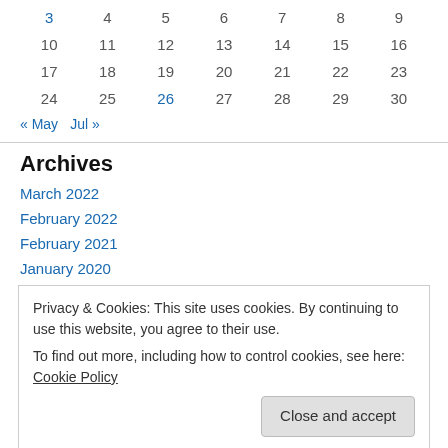| 3 | 4 | 5 | 6 | 7 | 8 | 9 |
| 10 | 11 | 12 | 13 | 14 | 15 | 16 |
| 17 | 18 | 19 | 20 | 21 | 22 | 23 |
| 24 | 25 | 26 | 27 | 28 | 29 | 30 |
« May   Jul »
Archives
March 2022
February 2022
February 2021
January 2020
Privacy & Cookies: This site uses cookies. By continuing to use this website, you agree to their use.
To find out more, including how to control cookies, see here: Cookie Policy
February 2016